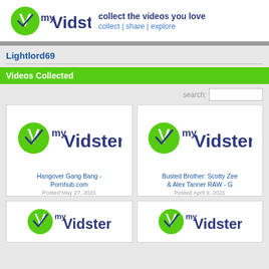[Figure (logo): myVidster logo with green leaf icon and blue text]
collect the videos you love
collect | share | explore
Lightlord69
Videos Collected
search:
[Figure (logo): myVidster placeholder thumbnail logo]
Hangover Gang Bang - Pornhub.com
Posted May 27, 2021
[Figure (logo): myVidster placeholder thumbnail logo]
Busted Brother: Scotty Zee & Alex Tanner RAW - G
Posted April 9, 2021
[Figure (logo): myVidster placeholder thumbnail logo]
[Figure (logo): myVidster placeholder thumbnail logo]